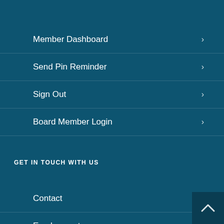Member Dashboard
Send Pin Reminder
Sign Out
Board Member Login
GET IN TOUCH WITH US
Contact
Employment